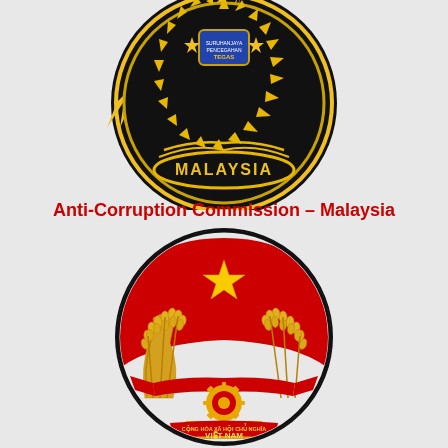[Figure (logo): Anti-Corruption Commission Malaysia badge/emblem - circular black badge with yellow gear-like border, gold laurel wreath details, and text MALAYSIA in gold letters at the bottom, with smaller emblems at the top center]
Anti-Corruption Commission – Malaysia
[Figure (logo): Vietnam national emblem - circular emblem with red background, golden star in center top, golden rice stalks forming wreath on sides, gear wheel at bottom center, red ribbon banner with text CONG HOA XA HOI CHU NGHIA VIET NAM]